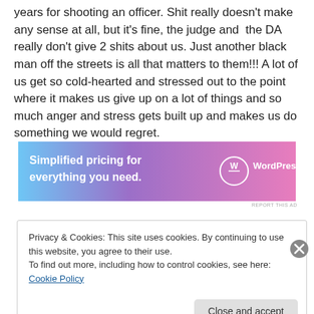years for shooting an officer. Shit really doesn't make any sense at all, but it's fine, the judge and the DA really don't give 2 shits about us. Just another black man off the streets is all that matters to them!!! A lot of us get so cold-hearted and stressed out to the point where it makes us give up on a lot of things and so much anger and stress gets built up and makes us do something we would regret.
[Figure (screenshot): WordPress.com advertisement banner: gradient background from blue to pink with text 'Simplified pricing for everything you need.' and WordPress.com logo]
Privacy & Cookies: This site uses cookies. By continuing to use this website, you agree to their use.
To find out more, including how to control cookies, see here: Cookie Policy
Close and accept